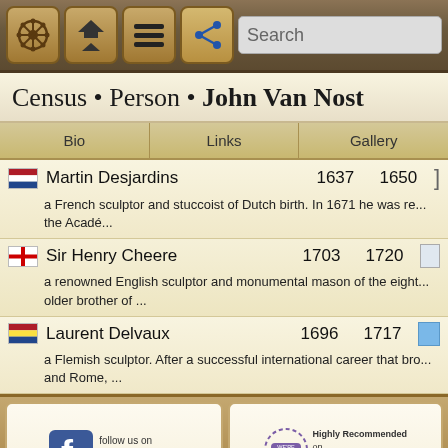[Figure (screenshot): Navigation bar with icons: helm/wheel, home/up, menu, share, and search bar]
Census • Person • John Van Nost
Bio   Links   Gallery
Martin Desjardins  1637  1650  — a French sculptor and stuccoist of Dutch birth. In 1671 he was re... the Acadé...
Sir Henry Cheere  1703  1720  — a renowned English sculptor and monumental mason of the eight... older brother of ...
Laurent Delvaux  1696  1717  — a Flemish sculptor. After a successful international career that bro... and Rome, ...
[Figure (logo): Follow us on Facebook logo tile]
[Figure (logo): Highly Recommended on Alignable badge]
Colonial Sense is an advocate for global consumer privacy rights, protection and s... All material on this website © copyright 2009-22 by Colonial Sense, except where otherw... ref:T5-S50-P1196-CPerson-M